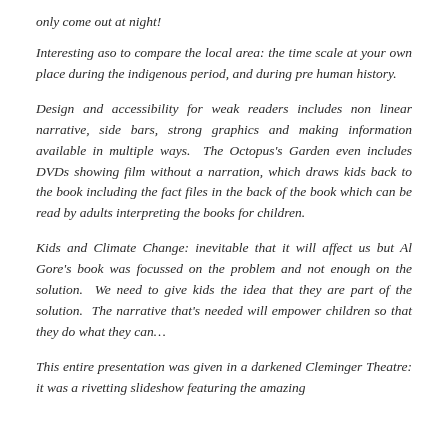only come out at night!
Interesting aso to compare the local area: the time scale at your own place during the indigenous period, and during pre human history.
Design and accessibility for weak readers includes non linear narrative, side bars, strong graphics and making information available in multiple ways.  The Octopus's Garden even includes DVDs showing film without a narration, which draws kids back to the book including the fact files in the back of the book which can be read by adults interpreting the books for children.
Kids and Climate Change: inevitable that it will affect us but Al Gore's book was focussed on the problem and not enough on the solution.  We need to give kids the idea that they are part of the solution.  The narrative that's needed will empower children so that they do what they can…
This entire presentation was given in a darkened Cleminger Theatre: it was a rivetting slideshow featuring the amazing